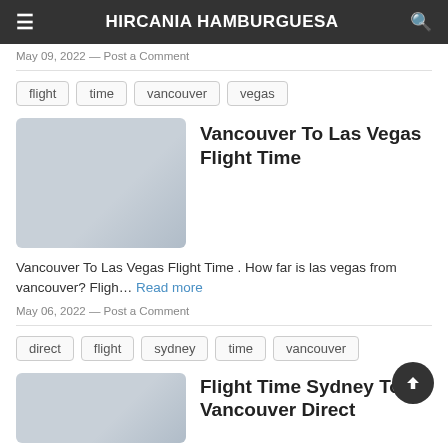HIRCANIA HAMBURGUESA
May 09, 2022 — Post a Comment
flight
time
vancouver
vegas
Vancouver To Las Vegas Flight Time
Vancouver To Las Vegas Flight Time . How far is las vegas from vancouver? Fligh… Read more
May 06, 2022 — Post a Comment
direct
flight
sydney
time
vancouver
Flight Time Sydney To Vancouver Direct